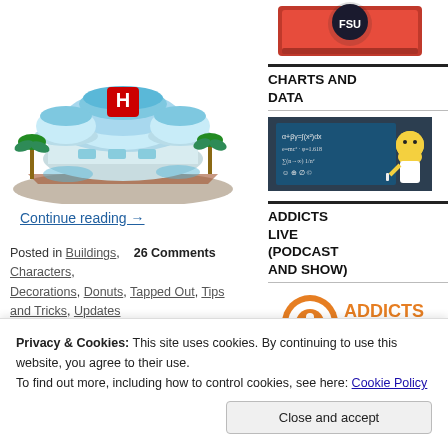[Figure (illustration): Isometric illustration of a futuristic hospital building with blue domed roofs, palm trees, and red H helipad symbol]
Continue reading →
Posted in Buildings, 26 Comments Characters, Decorations, Donuts, Tapped Out, Tips and Tricks, Updates
Tagged should i buy death mountain,
[Figure (illustration): Red book with Simpsons character on cover — top of right sidebar]
CHARTS AND DATA
[Figure (illustration): Homer Simpson at a chalkboard with math equations — Charts and Data sidebar image]
ADDICTS LIVE (PODCAST AND SHOW)
[Figure (logo): Addicts Live podcast logo with orange circular icon and stylized text]
Privacy & Cookies: This site uses cookies. By continuing to use this website, you agree to their use.
To find out more, including how to control cookies, see here: Cookie Policy
Close and accept